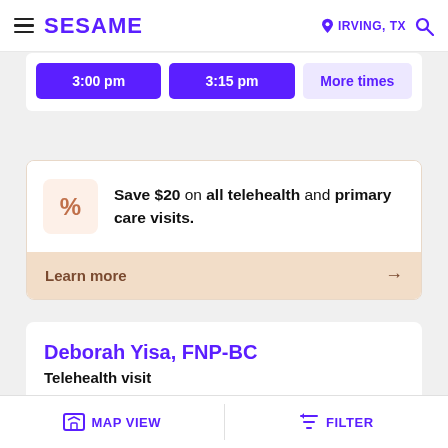SESAME | IRVING, TX
3:00 pm  3:15 pm  More times
Save $20 on all telehealth and primary care visits. Learn more →
Deborah Yisa, FNP-BC
Telehealth visit
MAP VIEW  FILTER